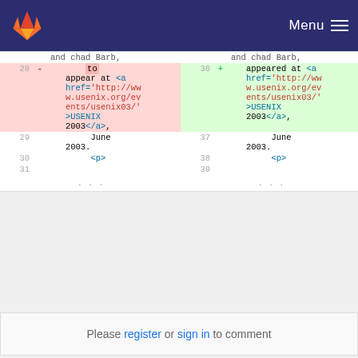GitLab — Menu
[Figure (screenshot): Diff view showing code changes between two versions. Left side shows line 28 removed (to, appear at <a href='http://www.usenix.org/events/usenix03/'>USENIX 2003</a>,) and right side shows line 36 added (appeared at same URL). Lines 29/37 show 'June 2003.', lines 30/38 show '<p>', line 31/39 blank, then ellipsis rows.]
Please register or sign in to comment